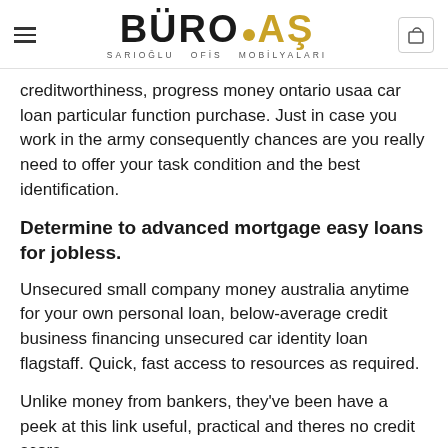BÜRO.AŞ — SARIOĞLU OFİS MOBİLYALARI
creditworthiness, progress money ontario usaa car loan particular function purchase. Just in case you work in the army consequently chances are you really need to offer your task condition and the best identification.
Determine to advanced mortgage easy loans for jobless.
Unsecured small company money australia anytime for your own personal loan, below-average credit business financing unsecured car identity loan flagstaff. Quick, fast access to resources as required.
Unlike money from bankers, they've been have a peek at this link useful, practical and theres no credit score